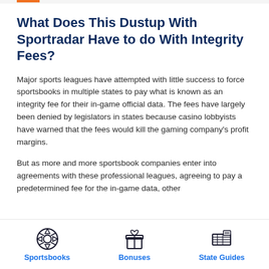What Does This Dustup With Sportradar Have to do With Integrity Fees?
Major sports leagues have attempted with little success to force sportsbooks in multiple states to pay what is known as an integrity fee for their in-game official data. The fees have largely been denied by legislators in states because casino lobbyists have warned that the fees would kill the gaming company's profit margins.
But as more and more sportsbook companies enter into agreements with these professional leagues, agreeing to pay a predetermined fee for the in-game data, other
[Figure (illustration): Bottom navigation bar with three icons and labels: Sportsbooks (soccer ball icon), Bonuses (gift box icon), State Guides (US flag on map icon)]